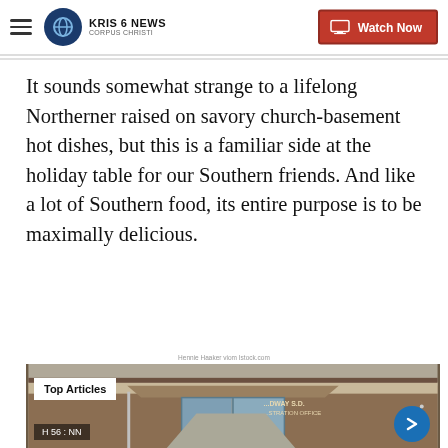KRIS 6 NEWS CORPUS CHRISTI | Watch Now
It sounds somewhat strange to a lifelong Northerner raised on savory church-basement hot dishes, but this is a familiar side at the holiday table for our Southern friends. And like a lot of Southern food, its entire purpose is to be maximally delicious.
Hennie Haaker viom Istock.com
[Figure (photo): Exterior photo of a brick school administration building with glass front doors and a covered entrance. A 'Top Articles' label overlays the top-left of the image. An arrow navigation button appears at the bottom right.]